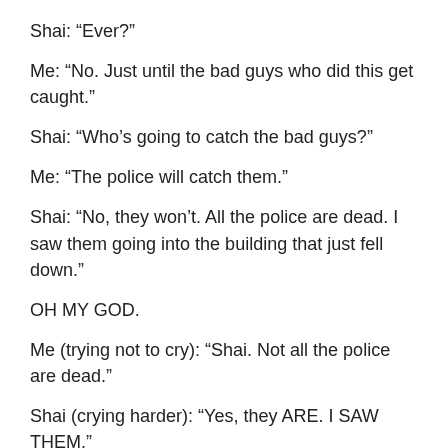Shai: “Ever?”
Me: “No. Just until the bad guys who did this get caught.”
Shai: “Who’s going to catch the bad guys?”
Me: “The police will catch them.”
Shai: “No, they won’t. All the police are dead. I saw them going into the building that just fell down.”
OH MY GOD.
Me (trying not to cry): “Shai. Not all the police are dead.”
Shai (crying harder): “Yes, they ARE. I SAW THEM.”
Me (showing Shai a picture from my family photo album of a policeman in his uniform): “Shai, this is my brother, Matt. He’s a policeman. And he’s not